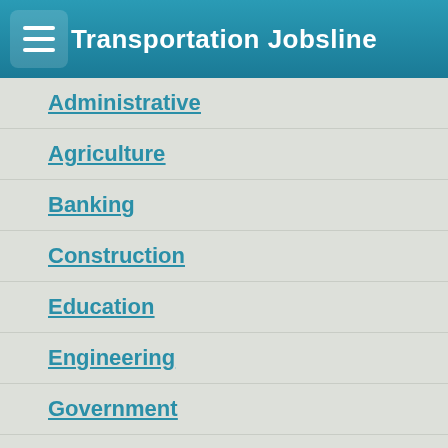Transportation Jobsline
Administrative
Agriculture
Banking
Construction
Education
Engineering
Government
Healthcare
Hospitality
Human Resources
Information Technology
Legal